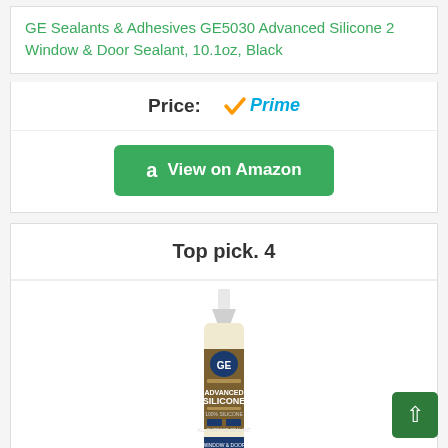GE Sealants & Adhesives GE5030 Advanced Silicone 2 Window & Door Sealant, 10.1oz, Black
Price: ✓Prime
[Figure (other): Green 'View on Amazon' button with Amazon logo icon]
Top pick. 4
[Figure (photo): GE Advanced Silicone 2 caulk tube product photo, white tube with bronze/gold label]